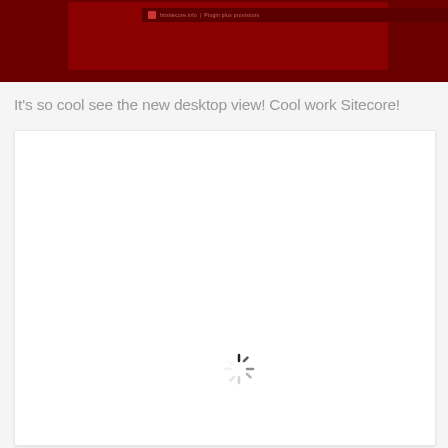[Figure (screenshot): Top portion of a dark red/maroon website screenshot showing a navigation bar with an icon, text link and separator, and highlighted menu item on dark red background]
It's so cool see the new desktop view! Cool work Sitecore!
[Figure (screenshot): White content area with a loading spinner (circular progress indicator) centered in the middle of the panel]